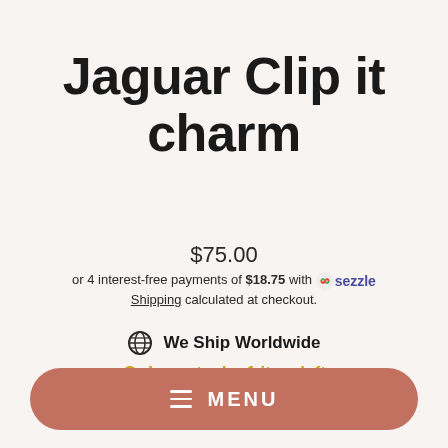Jaguar Clip it charm
$75.00
or 4 interest-free payments of $18.75 with Sezzle. Shipping calculated at checkout.
We Ship Worldwide
Low stock - 1 item left
MENU